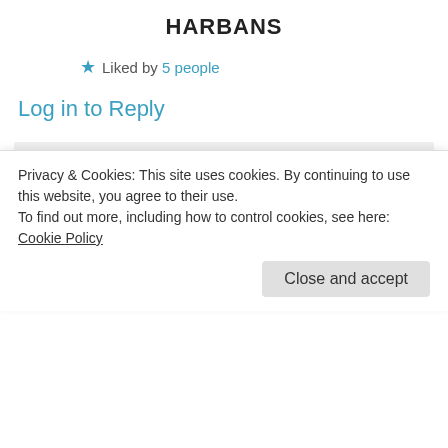HARBANS
★ Liked by 5 people
Log in to Reply
Didis Art Design on 28/04/2018 at 19:37
👍 0 👎 0 ℹ Rate This
🙂
★ Liked by 3 people
Privacy & Cookies: This site uses cookies. By continuing to use this website, you agree to their use.
To find out more, including how to control cookies, see here: Cookie Policy
Close and accept
👍 0 👎 0 ℹ Rate This